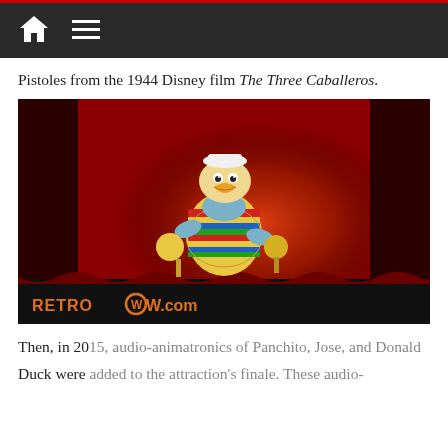Navigation bar with home and menu icons
Pistoles from the 1944 Disney film The Three Caballeros.
[Figure (photo): Donald Duck audio-animatronic figure dressed in a colorful serape and holding maracas, on a stage with red curtains, lit by a spotlight. RETROWOW.com watermark at bottom left.]
Then, in 2015, audio-animatronics of Panchito, Jose, and Donald Duck were added to the attraction's finale. These audio-